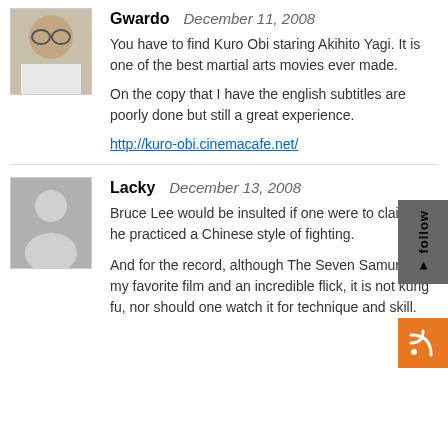[Figure (photo): Avatar photo of Gwardo - a man with glasses wearing a white shirt]
Gwardo   December 11, 2008
You have to find Kuro Obi staring Akihito Yagi. It is one of the best martial arts movies ever made.
On the copy that I have the english subtitles are poorly done but still a great experience.
http://kuro-obi.cinemacafe.net/
[Figure (illustration): Generic gray avatar silhouette placeholder for Lacky]
Lacky   December 13, 2008
Bruce Lee would be insulted if one were to claim that he practiced a Chinese style of fighting.
And for the record, although The Seven Samurai is my favorite film and an incredible flick, it is not kung fu, nor should one watch it for technique and skill.